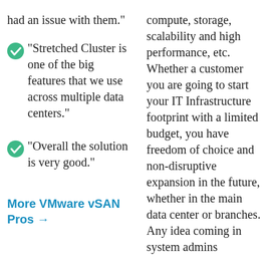had an issue with them."
"Stretched Cluster is one of the big features that we use across multiple data centers."
"Overall the solution is very good."
More VMware vSAN Pros →
compute, storage, scalability and high performance, etc. Whether a customer you are going to start your IT Infrastructure footprint with a limited budget, you have freedom of choice and non-disruptive expansion in the future, whether in the main data center or branches. Any idea coming in system admins